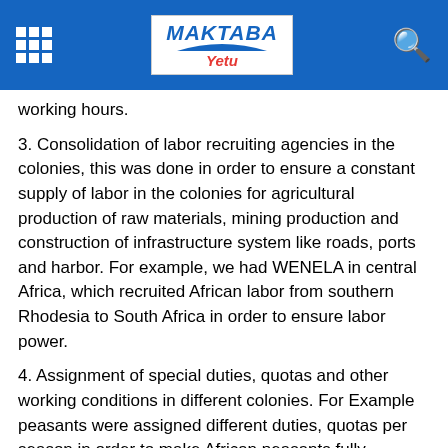Maktaba Yetu
working hours.
3. Consolidation of labor recruiting agencies in the colonies, this was done in order to ensure a constant supply of labor in the colonies for agricultural production of raw materials, mining production and construction of infrastructure system like roads, ports and harbor. For example, we had WENELA in central Africa, which recruited African labor from southern Rhodesia to South Africa in order to ensure labor power.
4. Assignment of special duties, quotas and other working conditions in different colonies. For Example peasants were assigned different duties, quotas per season in order to make African peasants fully involved in colonial production of raw materials and add more volumes of raw materials needed in hungry industries in Europe like in cotton growing region each family in those areas was required to cultivate at least 3 acres of cotton per season.